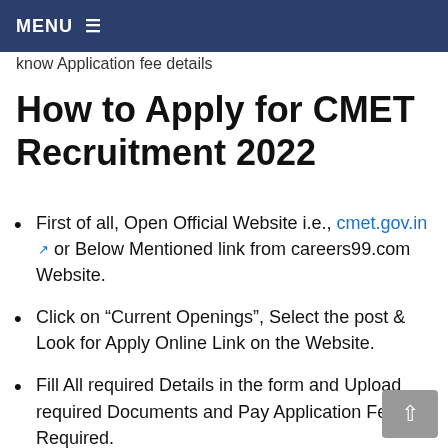MENU
know Application fee details
How to Apply for CMET Recruitment 2022
First of all, Open Official Website i.e., cmet.gov.in or Below Mentioned link from careers99.com Website.
Click on “Current Openings”, Select the post & Look for Apply Online Link on the Website.
Fill All required Details in the form and Upload required Documents and Pay Application Fee if Required.
Check and confirm your details before hitting the Submit button.
Once All details confirmed, Submit and...